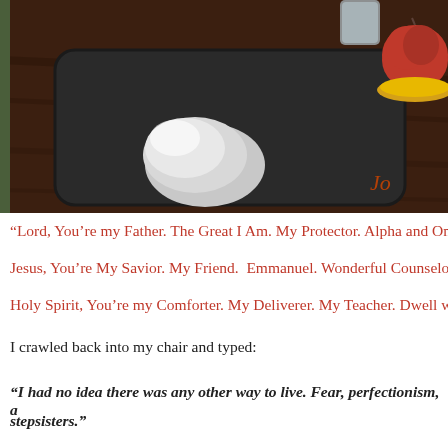[Figure (photo): A photo of a desk surface showing a silver computer mouse on a black mouse pad, with a glass of water and a red apple on a yellow plate in the upper right area. Dark wood table surface visible.]
“Lord, You’re my Father. The Great I Am. My Protector. Alpha and Om…
Jesus, You’re My Savior. My Friend.  Emmanuel. Wonderful Counselo…
Holy Spirit, You’re my Comforter. My Deliverer. My Teacher. Dwell w…
I crawled back into my chair and typed:
“I had no idea there was any other way to live. Fear, perfectionism, a… stepsisters.”